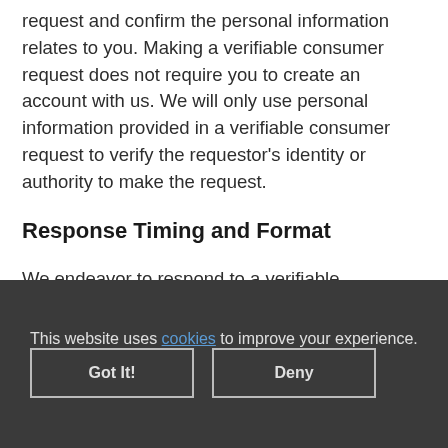request and confirm the personal information relates to you. Making a verifiable consumer request does not require you to create an account with us. We will only use personal information provided in a verifiable consumer request to verify the requestor's identity or authority to make the request.
Response Timing and Format
We endeavor to respond to a verifiable
This website uses cookies to improve your experience.
Got It!
Deny